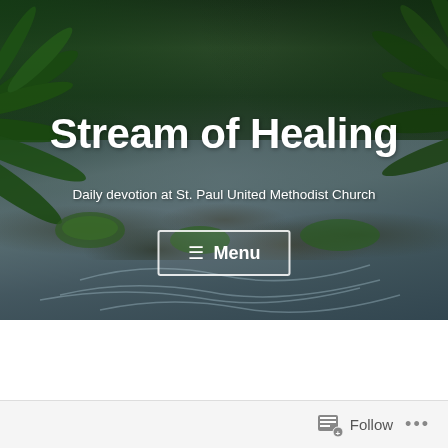[Figure (photo): A lush forest stream with moss-covered rocks, ferns, and flowing water in a temperate rainforest setting. The image serves as a website header background.]
Stream of Healing
Daily devotion at St. Paul United Methodist Church
Jeremiah 45
Follow